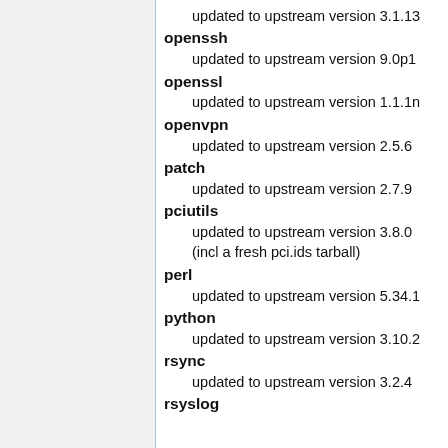updated to upstream version 3.1.13
openssh
    updated to upstream version 9.0p1
openssl
    updated to upstream version 1.1.1n
openvpn
    updated to upstream version 2.5.6
patch
    updated to upstream version 2.7.9
pciutils
    updated to upstream version 3.8.0
    (incl a fresh pci.ids tarball)
perl
    updated to upstream version 5.34.1
python
    updated to upstream version 3.10.2
rsync
    updated to upstream version 3.2.4
rsyslog